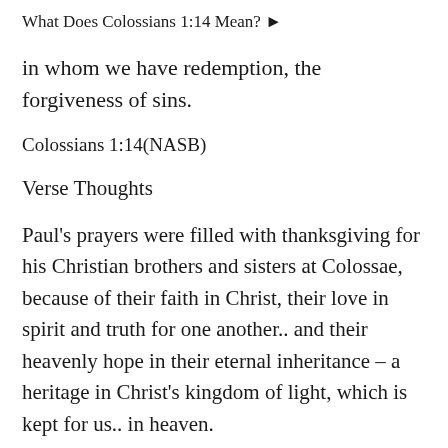What Does Colossians 1:14 Mean? ▶
in whom we have redemption, the forgiveness of sins.
Colossians 1:14(NASB)
Verse Thoughts
Paul's prayers were filled with thanksgiving for his Christian brothers and sisters at Colossae, because of their faith in Christ, their love in spirit and truth for one another.. and their heavenly hope in their eternal inheritance – a heritage in Christ's kingdom of light, which is kept for us.. in heaven.